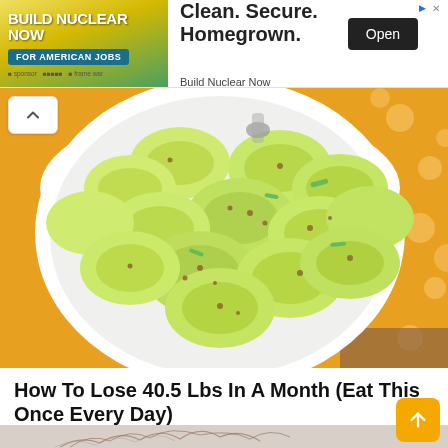[Figure (screenshot): Advertisement banner for 'Build Nuclear Now' — left side has yellow-green gradient with bold white text 'BUILD NUCLEAR NOW' and teal banner 'FOR AMERICAN JOBS'; right side has text 'Clean. Secure. Homegrown.' with black 'Open' button and 'Build Nuclear Now' brand text]
[Figure (photo): Bowl of sliced cucumber salad with green onions and red pepper flakes on a yellow polka-dot cloth background]
How To Lose 40.5 Lbs In A Month (Eat This Once Every Day)
KETO
[Figure (photo): Partial view of a second content image at the bottom of the page, appearing to show hair or fur on a light background]